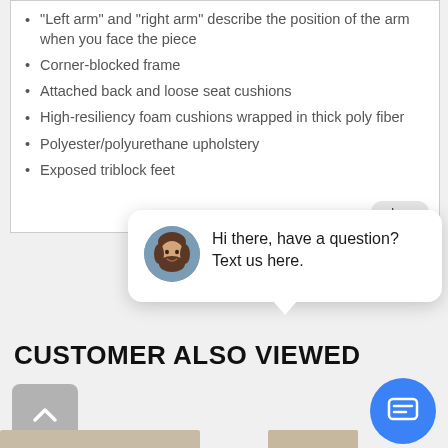"Left arm" and "right arm" describe the position of the arm when you face the piece
Corner-blocked frame
Attached back and loose seat cushions
High-resiliency foam cushions wrapped in thick poly fiber
Polyester/polyurethane upholstery
Exposed triblock feet
[Figure (screenshot): Chat popup overlay with avatar photo and text: Hi there, have a question? Text us here.]
CUSTOMER ALSO VIEWED
[Figure (screenshot): Back-to-top button (gray rounded rectangle with upward chevron), and blue chat icon circle at bottom of page]